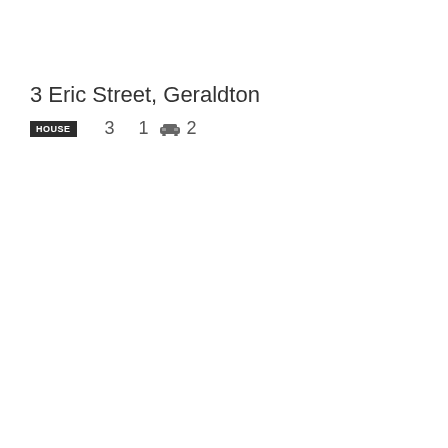3 Eric Street, Geraldton
HOUSE   3   1   car 2